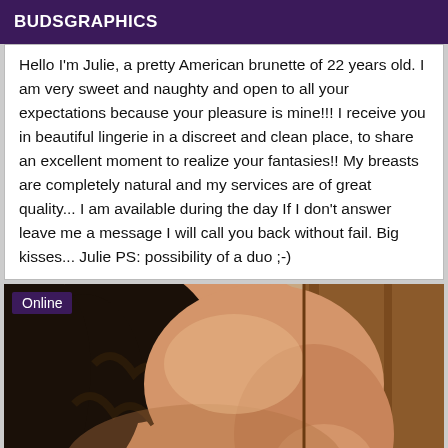BUDSGRAPHICS
Hello I'm Julie, a pretty American brunette of 22 years old. I am very sweet and naughty and open to all your expectations because your pleasure is mine!!! I receive you in beautiful lingerie in a discreet and clean place, to share an excellent moment to realize your fantasies!! My breasts are completely natural and my services are of great quality... I am available during the day If I don't answer leave me a message I will call you back without fail. Big kisses... Julie PS: possibility of a duo ;-)
[Figure (photo): Photo of a woman with dark hair, partially visible, warm skin tones, indoor setting with wooden door visible. Badge reading 'Online' in top-left corner.]